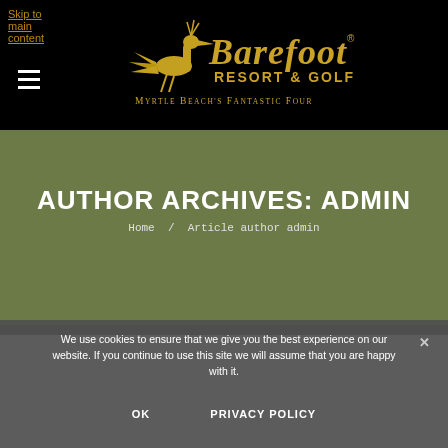Skip to main content
[Figure (logo): Barefoot Resort & Golf logo with heron bird graphic and text 'Myrtle Beach's Fantastic Four' on black background]
AUTHOR ARCHIVES: ADMIN
Home / Article author admin
We use cookies to ensure that we give you the best experience on our website. If you continue to use this site we will assume that you are happy with it.
OK    PRIVACY POLICY